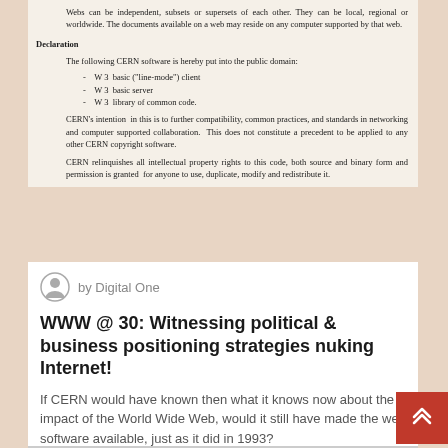Webs can be independent, subsets or supersets of each other. They can be local, regional or worldwide. The documents available on a web may reside on any computer supported by that web.
Declaration
The following CERN software is hereby put into the public domain:
- W 3  basic ("line-mode") client
- W 3  basic server
- W 3  library of common code.
CERN's intention  in this is to further compatibility, common practices, and standards in networking and computer supported collaboration.  This does not constitute a precedent to be applied to any other CERN copyright software.
CERN relinquishes all intellectual property rights to this code, both source and binary form and permission is granted  for anyone to use, duplicate, modify and redistribute it.
by Digital One
WWW @ 30: Witnessing political & business positioning strategies nuking Internet!
If CERN would have known then what it knows now about the impact of the World Wide Web, would it still have made the web software available, just as it did in 1993?
Corruption
Education
Lifestyle
People
Politics
Software
Startup
Technology
Telecom
World